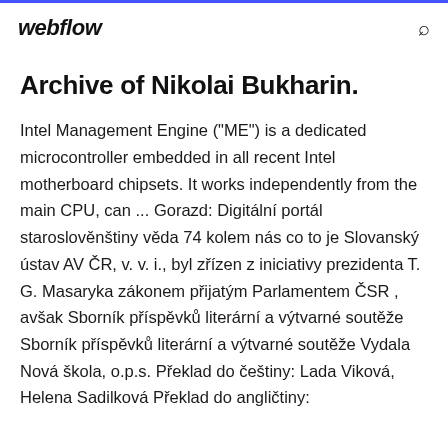webflow
Archive of Nikolai Bukharin.
Intel Management Engine ("ME") is a dedicated microcontroller embedded in all recent Intel motherboard chipsets. It works independently from the main CPU, can ... Gorazd: Digitální portál staroslověnštiny věda 74 kolem nás co to je Slovanský ústav AV ČR, v. v. i., byl zřízen z iniciativy prezidenta T. G. Masaryka zákonem přijatým Parlamentem ČSR , avšak Sborník příspěvků literární a výtvarné soutěže Sborník příspěvků literární a výtvarné soutěže Vydala Nová škola, o.p.s. Překlad do češtiny: Lada Viková, Helena Sadilková Překlad do angličtiny: